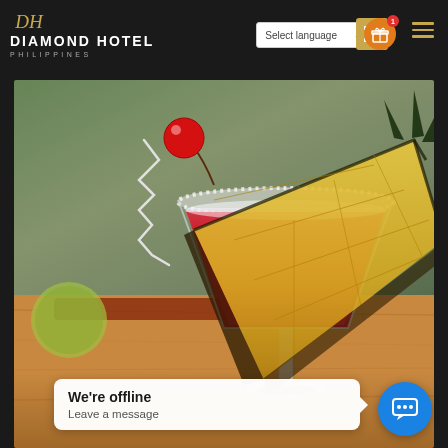Diamond Hotel Philippines — website screenshot header
[Figure (screenshot): Diamond Hotel Philippines website screenshot showing the hotel logo, navigation bar with Select language dropdown, gold/orange icon buttons, a large hero photo of a red cocktail martini glass garnished with a pineapple slice and cherry, and a chat widget at the bottom saying 'We're offline / Leave a message']
We're offline
Leave a message